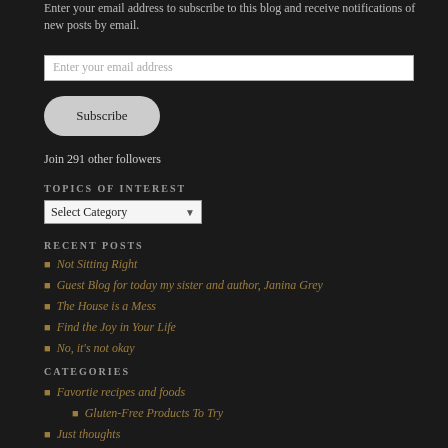Enter your email address to subscribe to this blog and receive notifications of new posts by email.
Enter your email address
Subscribe
Join 291 other followers
TOPICS OF INTEREST
Select Category
RECENT POSTS
Not Sitting Right
Guest Blog for today my sister and author, Janina Grey
The House is a Mess
Find the Joy in Your Life
No, it's not okay
CATEGORIES
Favortie recipes and foods
Gluten-Free Products To Try
Just thoughts
My Favorite Recipes